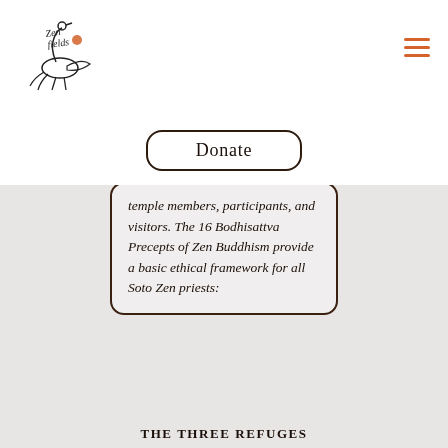[Figure (logo): Zen Fields logo with crane bird illustration and handwritten text]
Donate
temple members, participants, and visitors. The 16 Bodhisattva Precepts of Zen Buddhism provide a basic ethical framework for all Soto Zen priests:
THE THREE REFUGES